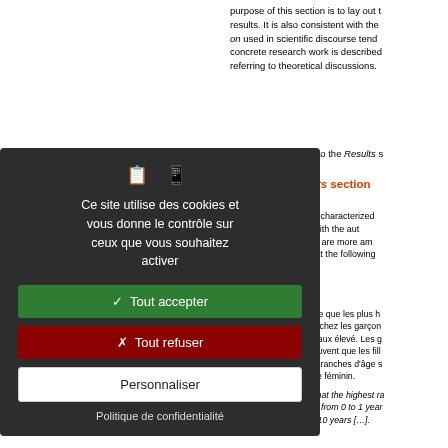purpose of this section is to lay out the results. It is also consistent with the on used in scientific discourse tend concrete research work is described referring to theoretical discussions.
Let us now move on to the Results s
5.1.3. The Results section
The Results section is characterized we") and associated with the aut occurrences of on that are more am omplexity, let us look at the following
[12]   La figure 1 montre que les plus h ont été observés chez les garçon affiche aussi un taux élevé. Les g deux fois plus souvent que les fill inverse dans les tranches d'âge s les sujets de sexe féminin.

Figure 1 shows that the highest r observed in boys from 0 to 1 year those older than 10 years […].
Ce site utilise des cookies et vous donne le contrôle sur ceux que vous souhaitez activer
✓ Tout accepter
✗ Tout refuser
Personnaliser
Politique de confidentialité